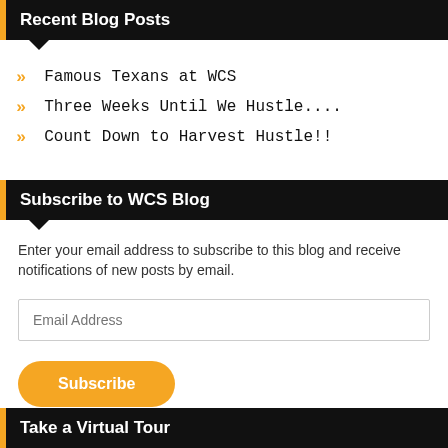Recent Blog Posts
Famous Texans at WCS
Three Weeks Until We Hustle....
Count Down to Harvest Hustle!!
Subscribe to WCS Blog
Enter your email address to subscribe to this blog and receive notifications of new posts by email.
Email Address
Subscribe
Take a Virtual Tour